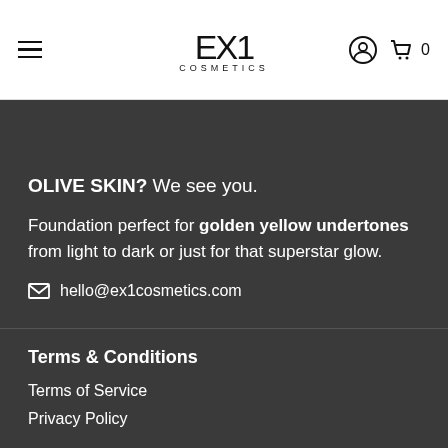EX1 COSMETICS — navigation header with hamburger menu, logo, user icon, cart icon with 0
OLIVE SKIN? We see you.
Foundation perfect for golden yellow undertones from light to dark or just for that superstar glow.
hello@ex1cosmetics.com
Terms & Conditions
Terms of Service
Privacy Policy